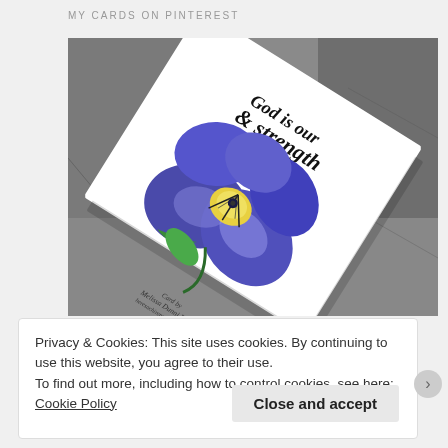MY CARDS ON PINTEREST
[Figure (photo): A handmade greeting card photographed at an angle, featuring a blue and purple pansy flower with yellow center, placed on a stone surface. The card has cursive text reading 'God is our strength' at the top and a signature at the bottom reading 'Card by Melissa Dunni Lane heresachirensondnen.com']
Privacy & Cookies: This site uses cookies. By continuing to use this website, you agree to their use.
To find out more, including how to control cookies, see here: Cookie Policy
Close and accept